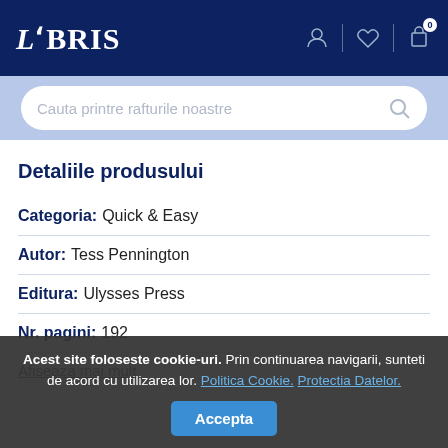LIBRIS
Cauta printre rafturile noastre
Detaliile produsului
Categoria: Quick & Easy
Autor: Tess Pennington
Editura: Ulysses Press
Nr. pagini: 192
Afiseaza mai mult
Acest site foloseste cookie-uri. Prin continuarea navigarii, sunteti de acord cu utilizarea lor. Politica Cookie. Protectia Datelor. Accepta